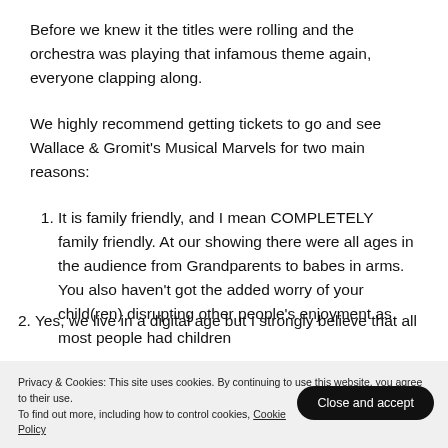Before we knew it the titles were rolling and the orchestra was playing that infamous theme again, everyone clapping along.
We highly recommend getting tickets to go and see Wallace & Gromit's Musical Marvels for two main reasons:
It is family friendly, and I mean COMPLETELY family friendly. At our showing there were all ages in the audience from Grandparents to babes in arms. You also haven't got the added worry of your child(ren) disrupting other people's enjoyment as most people had children
Privacy & Cookies: This site uses cookies. By continuing to use this website, you agree to their use.
To find out more, including how to control cookies, see here: Cookie Policy
Yes, we live in a digital age but I strongly believe that all